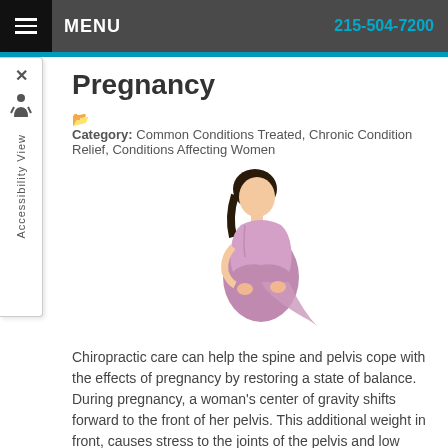MENU  215-504-7200
Pregnancy
Category: Common Conditions Treated, Chronic Condition Relief, Conditions Affecting Women
[Figure (photo): Pregnant woman in purple dress holding her belly, looking down]
Chiropractic care can help the spine and pelvis cope with the effects of pregnancy by restoring a state of balance. During pregnancy, a woman's center of gravity shifts forward to the front of her pelvis. This additional weight in front, causes stress to the joints of the pelvis and low back. As the
Read more